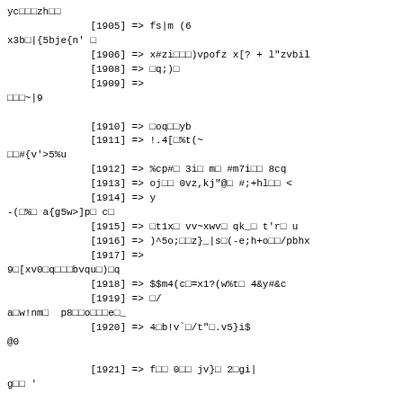yc□□□zh□□
              [1905] => fs|m (6
x3b□|{5bje{n' □
              [1906] => x#zi□□□)vpofz x[? + l"zvbil
              [1908] => □q;)□
              [1909] =>
□□□~|9

              [1910] => □oq□□yb
              [1911] => !.4[□%t(~
□□#{v'>5%u
              [1912] => %cp#□ 3i□ m□ #m7i□□ 8cq
              [1913] => oj□□ 0vz,kj"@□ #;+hl□□ <
              [1914] => y
-(  □%□ a{g5w>]p□ c□
              [1915] => □t1x□ vv~xwv□ qk_□ t'r□ u
              [1916] => )^5o;□□z}_|s□(-e;h+o□□/pbhx
              [1917] =>
9□[xv0□q□□□bvqu□)□q
              [1918] => $$m4(c□=x1?(w%t□ 4&y#&c
              [1919] => □/
a□w!nm□  p8□□o□□□e□_
              [1920] => 4□b!v`□/t"□.v5}i$
@0

              [1921] => f□□ 0□□ jv}□ 2□gi|
g□□ '

              [1922] => x@wcae99f9q%□ p~ebqkr
              [1923] => □jp7gncow□ t
9x_]aqt7

              [1924] => ,□p,[+hrz□&)i□|b/□l-
              [1925] => s□□ 'f
[_+□/Λ#m'1□`elb(□f~□□ 'f□'□z